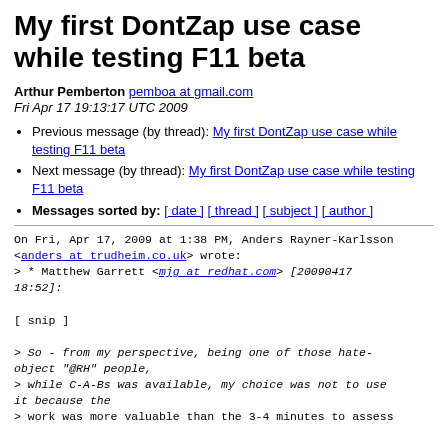My first DontZap use case while testing F11 beta
Arthur Pemberton pemboa at gmail.com
Fri Apr 17 19:13:17 UTC 2009
Previous message (by thread): My first DontZap use case while testing F11 beta
Next message (by thread): My first DontZap use case while testing F11 beta
Messages sorted by: [ date ] [ thread ] [ subject ] [ author ]
On Fri, Apr 17, 2009 at 1:38 PM, Anders Rayner-Karlsson
<anders at trudheim.co.uk> wrote:
> * Matthew Garrett <mjg at redhat.com> [20090417 18:52]:

[ snip ]

> So - from my perspective, being one of those hate-object "@RH" people,
> while C-A-Bs was available, my choice was not to use it because the
> work was more valuable than the 3-4 minutes to assess